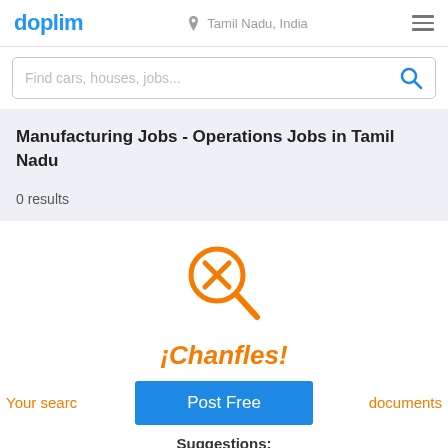doplim  Tamil Nadu, India
Find cars, houses, jobs...
Manufacturing Jobs - Operations Jobs in Tamil Nadu
0 results
[Figure (illustration): Orange magnifying glass with an X inside, indicating no results found]
¡Chanfles!
Your search documents
Post Free
Suggestions: